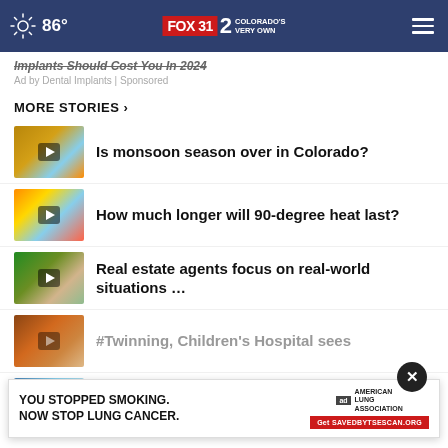86° FOX 31 2 COLORADO'S VERY OWN
Implants Should Cost You In 2024
Ad by Dental Implants | Sponsored
MORE STORIES ›
Is monsoon season over in Colorado?
How much longer will 90-degree heat last?
Real estate agents focus on real-world situations …
#Twinning, Children's Hospital sees
Hot days ahead with mostly dry
[Figure (screenshot): Bottom advertisement banner: YOU STOPPED SMOKING. NOW STOP LUNG CANCER. with American Lung Association logo and Get SAVEDBYTSESCAN.ORG button]